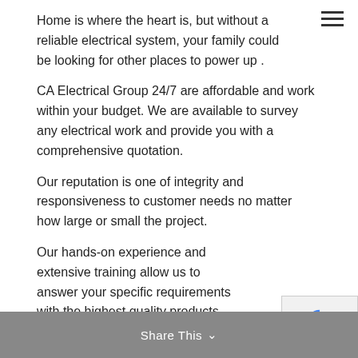Home is where the heart is, but without a reliable electrical system, your family could be looking for other places to power up .
CA Electrical Group 24/7 are affordable and work within your budget. We are available to survey any electrical work and provide you with a comprehensive quotation.
Our reputation is one of integrity and responsiveness to customer needs no matter how large or small the project.
Our hands-on experience and extensive training allow us to answer your specific requirements with the highest quality products and workmanship.
Share This